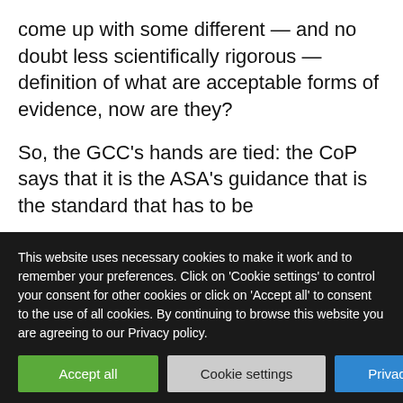come up with some different — and no doubt less scientifically rigorous — definition of what are acceptable forms of evidence, now are they?
So, the GCC's hands are tied: the CoP says that it is the ASA's guidance that is the standard that has to be
This website uses necessary cookies to make it work and to remember your preferences. Click on 'Cookie settings' to control your consent for other cookies or click on 'Accept all' to consent to the use of all cookies. By continuing to browse this website you are agreeing to our Privacy policy.